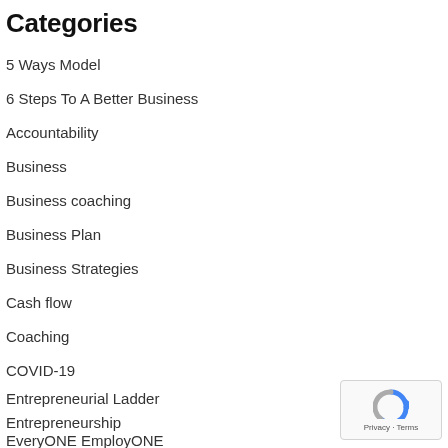Categories
5 Ways Model
6 Steps To A Better Business
Accountability
Business
Business coaching
Business Plan
Business Strategies
Cash flow
Coaching
COVID-19
Entrepreneurial Ladder
Entrepreneurship
EveryONE EmployONE
[Figure (other): reCAPTCHA widget with Privacy and Terms text]